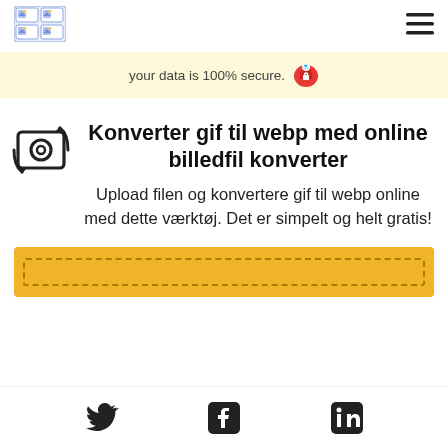[Figure (logo): App logo with images grid icon]
[Figure (other): Hamburger menu icon (three horizontal lines)]
your data is 100% secure.
[Figure (illustration): Red cloud with lock shield security icon]
[Figure (illustration): Camera/image converter icon — square with circular camera symbol and arrows]
Konverter gif til webp med online billedfil konverter
Upload filen og konvertere gif til webp online med dette værktøj. Det er simpelt og helt gratis!
[Figure (other): Yellow upload drop zone area with dashed border]
[Figure (other): Twitter bird icon]
[Figure (other): Facebook F icon]
[Figure (other): LinkedIn in icon]